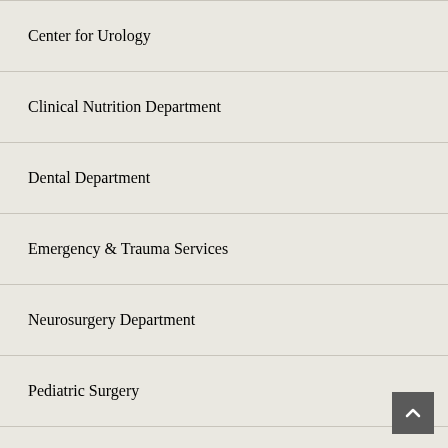Center for Urology
Clinical Nutrition Department
Dental Department
Emergency & Trauma Services
Neurosurgery Department
Pediatric Surgery
Psychiatry
Pulmonology Department
Rheumatology Department